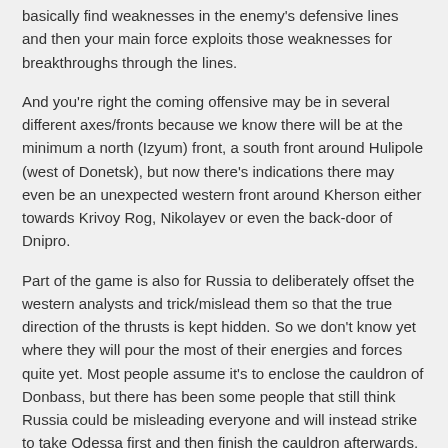basically find weaknesses in the enemy's defensive lines and then your main force exploits those weaknesses for breakthroughs through the lines.
And you're right the coming offensive may be in several different axes/fronts because we know there will be at the minimum a north (Izyum) front, a south front around Hulipole (west of Donetsk), but now there's indications there may even be an unexpected western front around Kherson either towards Krivoy Rog, Nikolayev or even the back-door of Dnipro.
Part of the game is also for Russia to deliberately offset the western analysts and trick/mislead them so that the true direction of the thrusts is kept hidden. So we don't know yet where they will pour the most of their energies and forces quite yet. Most people assume it's to enclose the cauldron of Donbass, but there has been some people that still think Russia could be misleading everyone and will instead strike to take Odessa first and then finish the cauldron afterwards, etc.
Reply
Filistin  on April 24, 2022  •  at 7:21 pm EST/EDT